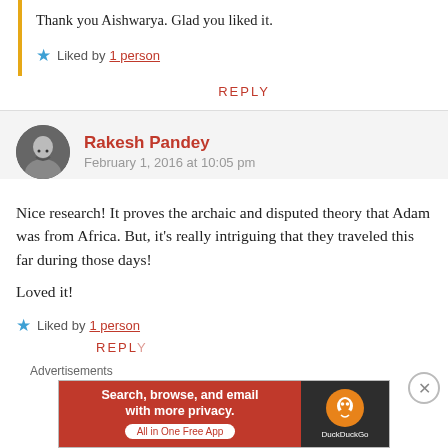Thank you Aishwarya. Glad you liked it.
★ Liked by 1 person
REPLY
Rakesh Pandey
February 1, 2016 at 10:05 pm
Nice research! It proves the archaic and disputed theory that Adam was from Africa. But, it's really intriguing that they traveled this far during those days!

Loved it!
★ Liked by 1 person
REPLY
Advertisements
[Figure (infographic): DuckDuckGo advertisement banner: orange/red background with text 'Search, browse, and email with more privacy. All in One Free App' and DuckDuckGo logo on dark right panel]